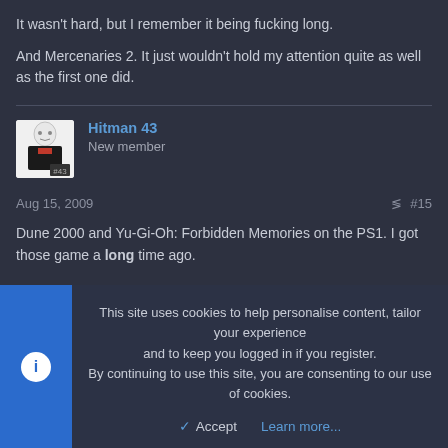It wasn't hard, but I remember it being fucking long.

And Mercenaries 2. It just wouldn't hold my attention quite as well as the first one did.
Hitman 43
New member
Aug 15, 2009  #15
Dune 2000 and Yu-Gi-Oh: Forbidden Memories on the PS1. I got those game a long time ago.
This site uses cookies to help personalise content, tailor your experience and to keep you logged in if you register.
By continuing to use this site, you are consenting to our use of cookies.
Accept   Learn more...